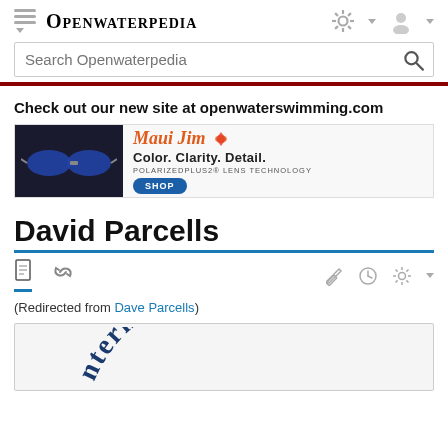Openwaterpedia — Search Openwaterpedia
Check out our new site at openwaterswimming.com
[Figure (photo): Maui Jim advertisement banner: sunglasses on dark background, with tagline 'Color. Clarity. Detail. PolarizedPlus2 Lens Technology' and a SHOP button]
David Parcells
(Redirected from Dave Parcells)
[Figure (logo): Partial logo showing the word 'international' in an arc, in dark navy blue]